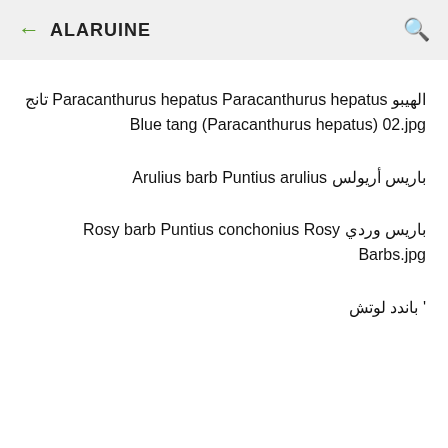← ALARUINE 🔍
الهيبو Paracanthurus hepatus Paracanthurus hepatus تانج Blue tang (Paracanthurus hepatus) 02.jpg
باريس أريولس Arulius barb Puntius arulius
باريس وردي Rosy barb Puntius conchonius Rosy Barbs.jpg
' باندد لوتش